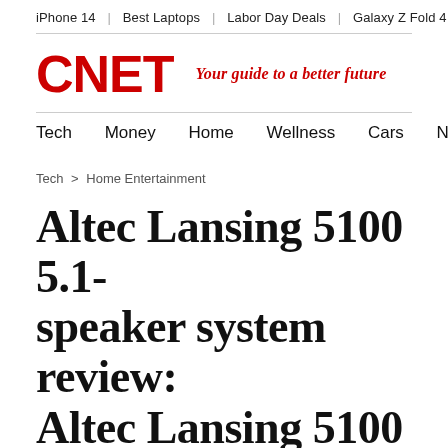iPhone 14 | Best Laptops | Labor Day Deals | Galaxy Z Fold 4 | Surf
CNET — Your guide to a better future
Tech | Money | Home | Wellness | Cars | News & Culture
Tech > Home Entertainment
Altec Lansing 5100 5.1-speaker system review: Altec Lansing 5100 5.1-speaker system